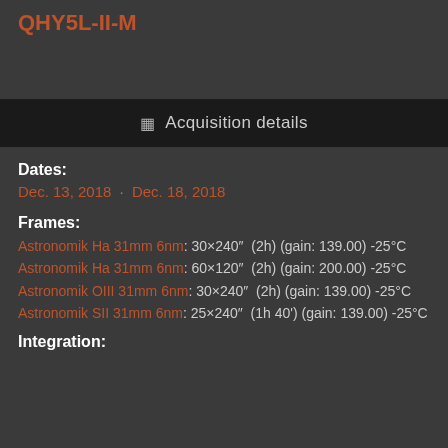QHY5L-II-M
Acquisition details
Dates:
Dec. 13, 2018 · Dec. 18, 2018
Frames:
Astronomik Ha 31mm 6nm: 30×240″  (2h) (gain: 139.00) -25°C
Astronomik Ha 31mm 6nm: 60×120″  (2h) (gain: 200.00) -25°C
Astronomik OIII 31mm 6nm: 30×240″  (2h) (gain: 139.00) -25°C
Astronomik SII 31mm 6nm: 25×240″  (1h 40') (gain: 139.00) -25°C
Integration: